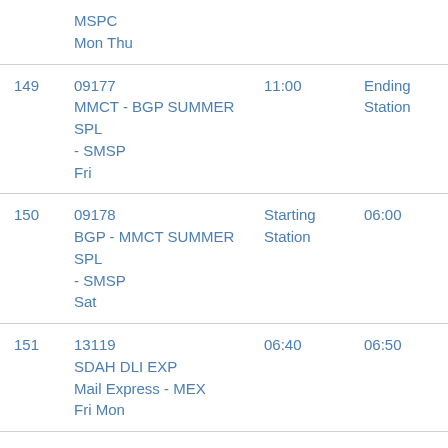| # | Train | Arrival | Departure |
| --- | --- | --- | --- |
|  | MSPC
Mon Thu |  |  |
| 149 | 09177
MMCT - BGP SUMMER SPL
- SMSP
Fri | 11:00 | Ending Station |
| 150 | 09178
BGP - MMCT SUMMER SPL
- SMSP
Sat | Starting Station | 06:00 |
| 151 | 13119
SDAH DLI EXP
Mail Express - MEX
Fri Mon | 06:40 | 06:50 |
| 152 | 13120 | 23:45 | 23:55 |